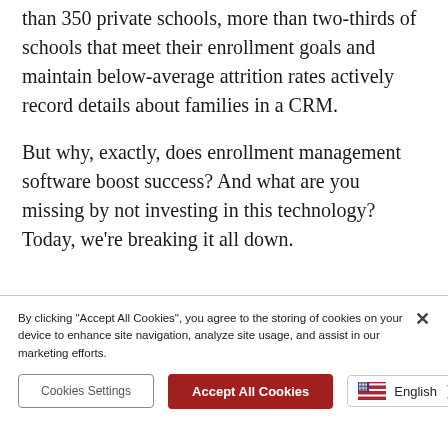In fact, according to a school admin survey of more than 350 private schools, more than two-thirds of schools that meet their enrollment goals and maintain below-average attrition rates actively record details about families in a CRM.
But why, exactly, does enrollment management software boost success? And what are you missing by not investing in this technology? Today, we're breaking it all down.
By clicking "Accept All Cookies", you agree to the storing of cookies on your device to enhance site navigation, analyze site usage, and assist in our marketing efforts.
Cookies Settings | Accept All Cookies | English